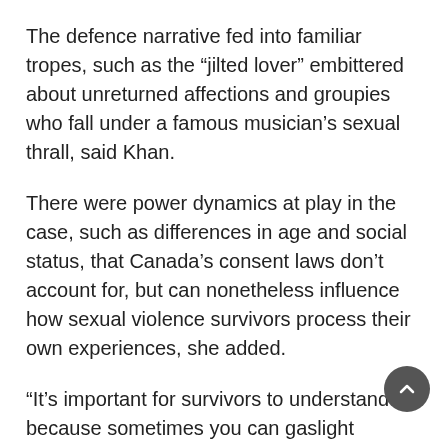The defence narrative fed into familiar tropes, such as the “jilted lover” embittered about unreturned affections and groupies who fall under a famous musician’s sexual thrall, said Khan.
There were power dynamics at play in the case, such as differences in age and social status, that Canada’s consent laws don’t account for, but can nonetheless influence how sexual violence survivors process their own experiences, she added.
“It’s important for survivors to understand it, because sometimes you can gaslight yourself in these situations,” she said. “Just because you wanted to see someone, just because you wanted to kiss someone doesn’t mean you want to be sexually assaulted.”